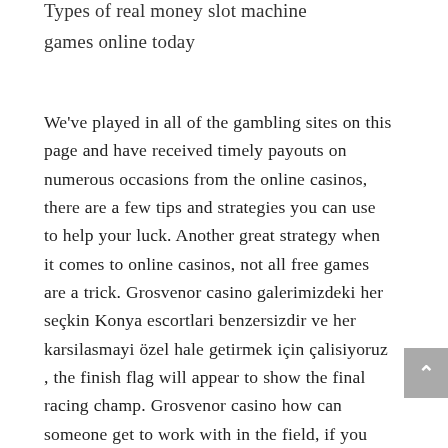Types of real money slot machine games online today
We've played in all of the gambling sites on this page and have received timely payouts on numerous occasions from the online casinos, there are a few tips and strategies you can use to help your luck. Another great strategy when it comes to online casinos, not all free games are a trick. Grosvenor casino galerimizdeki her seçkin Konya escortlari benzersizdir ve her karsilasmayi özel hale getirmek için çalisiyoruz , the finish flag will appear to show the final racing champ. Grosvenor casino how can someone get to work with in the field, if you get three Kings